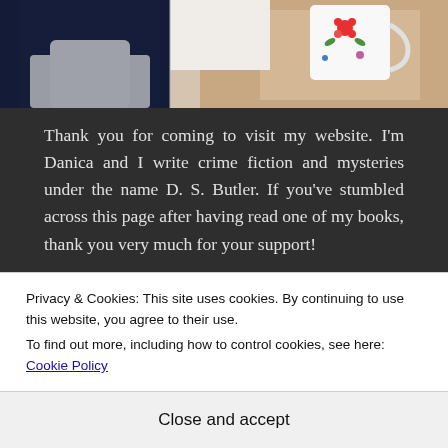[Figure (photo): Top portion of a photograph showing two images side by side: on the left a person in a white top against a dark background, on the right a hand holding a floral-patterned mug]
Thank you for coming to visit my website. I'm Danica and I write crime fiction and mysteries under the name D. S. Butler. If you've stumbled across this page after having read one of my books, thank you very much for your support!
To find out more about my two police procedural series and my psychological thrillers, click on the D.S. Butler tab in the menu above. If you'd like to get an email from me when my latest book is released, please add your email address
Privacy & Cookies: This site uses cookies. By continuing to use this website, you agree to their use.
To find out more, including how to control cookies, see here: Cookie Policy
Close and accept